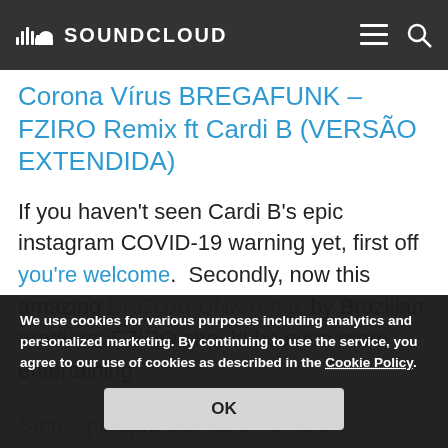SoundCloud
Corona Vírus BREGAFUNK – FZIRO Remix ft Cardi B (VERSÃO EXTENDIDA)
If you haven't seen Cardi B's epic instagram COVID-19 warning yet, first off you're welcome.  Secondly, now this amazing BREGAFUNK remix by Brazilian producer FZIRO should be even more entertaining
Smokepump... CORONA C AINT STOPPING SHIT (EXCUSE ME)"
We use cookies for various purposes including analytics and personalized marketing. By continuing to use the service, you agree to our use of cookies as described in the Cookie Policy.
OK